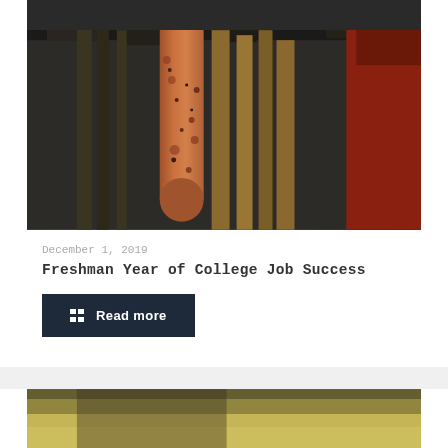[Figure (photo): Close-up photo of a rusty, weathered metal pole or pipe with dark gritty texture, surrounded by wooden slats or boards, dark industrial or abandoned structure setting]
December 1, 2019
Freshman Year of College Job Success
Read more
[Figure (photo): Partially visible photo at the bottom of the page, appears to show a blurred outdoor scene with warm yellowish tones]